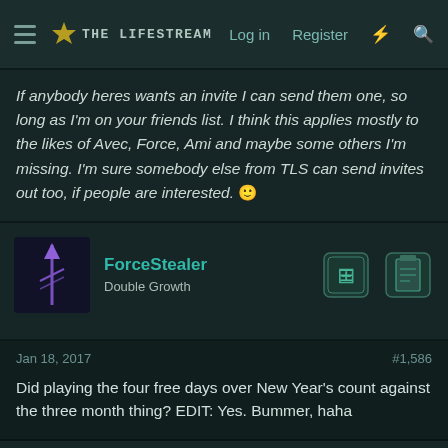[ menu ] [ site logo ] Log in   Register   ⚡   🔍
If anybody heres wants an invite I can send them one, so long as I'm on your friends list. I think this applies mostly to the likes of Avec, Force, Ami and maybe some others I'm missing. I'm sure somebody else from TLS can send invites out too, if people are interested. 🙂
ForceStealer
Double Growth
Jan 18, 2017
#1,586
Did playing the four free days over New Year's count against the three month thing? EDIT: Yes. Bummer, haha
Tennyo
Higher Further Faster
Jan 18, 2017
#1,587